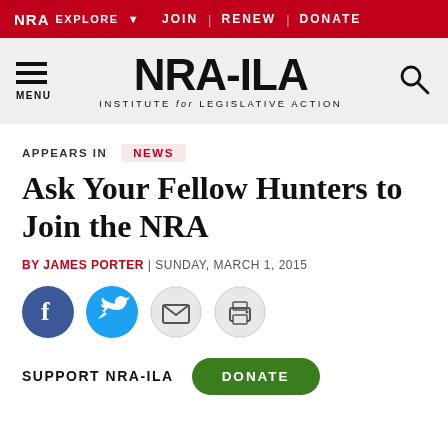NRA EXPLORE ▾  JOIN | RENEW | DONATE
[Figure (logo): NRA-ILA logo with hamburger menu and search icon on grey background]
APPEARS IN  NEWS
Ask Your Fellow Hunters to Join the NRA
BY JAMES PORTER | SUNDAY, MARCH 1, 2015
[Figure (infographic): Social sharing icons: Facebook, Twitter, Email, Print]
SUPPORT NRA-ILA  DONATE